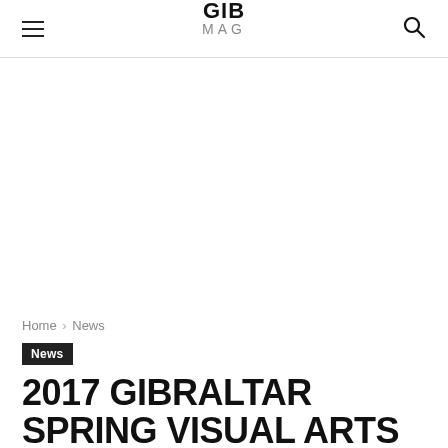GIB MAG
Home › News
News
2017 GIBRALTAR SPRING VISUAL ARTS EXHIBITION OPENS